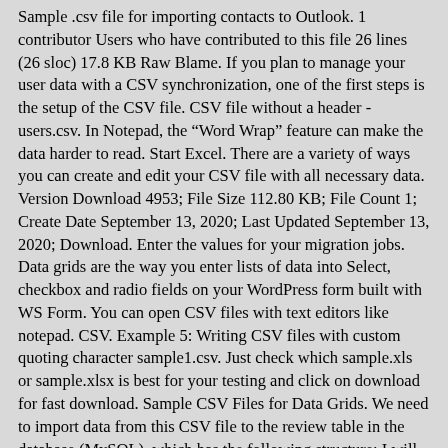Sample .csv file for importing contacts to Outlook. 1 contributor Users who have contributed to this file 26 lines (26 sloc) 17.8 KB Raw Blame. If you plan to manage your user data with a CSV synchronization, one of the first steps is the setup of the CSV file. CSV file without a header - users.csv. In Notepad, the "Word Wrap" feature can make the data harder to read. Start Excel. There are a variety of ways you can create and edit your CSV file with all necessary data. Version Download 4953; File Size 112.80 KB; File Count 1; Create Date September 13, 2020; Last Updated September 13, 2020; Download. Enter the values for your migration jobs. Data grids are the way you enter lists of data into Select, checkbox and radio fields on your WordPress form built with WS Form. You can open CSV files with text editors like notepad. CSV. Example 5: Writing CSV files with custom quoting character sample1.csv. Just check which sample.xls or sample.xlsx is best for your testing and click on download for fast download. Sample CSV Files for Data Grids. We need to import data from this CSV file to the review table in the database (MySQL), which has the following structure: I will share with you two different ways of inserting data read from a CSV file to a database, according two types of CSV format: simple and complex. The following lines (or records) in the file must contain data for your product using the same columns in that exact same